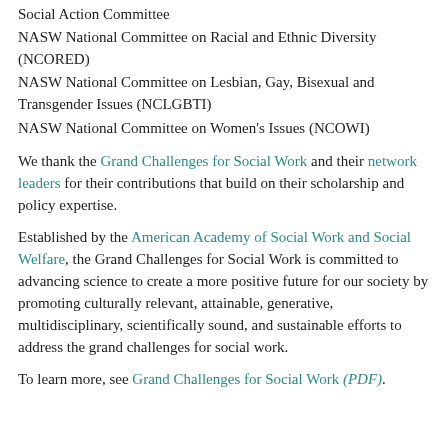Social Action Committee
NASW National Committee on Racial and Ethnic Diversity (NCORED)
NASW National Committee on Lesbian, Gay, Bisexual and Transgender Issues (NCLGBTI)
NASW National Committee on Women's Issues (NCOWI)
We thank the Grand Challenges for Social Work and their network leaders for their contributions that build on their scholarship and policy expertise.
Established by the American Academy of Social Work and Social Welfare, the Grand Challenges for Social Work is committed to advancing science to create a more positive future for our society by promoting culturally relevant, attainable, generative, multidisciplinary, scientifically sound, and sustainable efforts to address the grand challenges for social work.
To learn more, see Grand Challenges for Social Work (PDF).